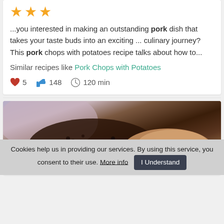[Figure (other): Three orange/gold star rating icons]
...you interested in making an outstanding pork dish that takes your taste buds into an exciting ... culinary journey? This pork chops with potatoes recipe talks about how to...
Similar recipes like Pork Chops with Potatoes
♥ 5  👍 148  🕐 120 min
[Figure (photo): Close-up photo of pork chops with a dark herb/spice crust, sliced to show interior, with blurred background]
Cookies help us in providing our services. By using this service, you consent to their use. More info  I Understand